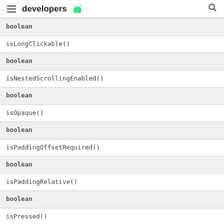developers (android logo)
| boolean |
| isLongClickable() |
| boolean |
| isNestedScrollingEnabled() |
| boolean |
| isOpaque() |
| boolean |
| isPaddingOffsetRequired() |
| boolean |
| isPaddingRelative() |
| boolean |
| isPressed() |
| boolean |
| isSaveEnabled() |